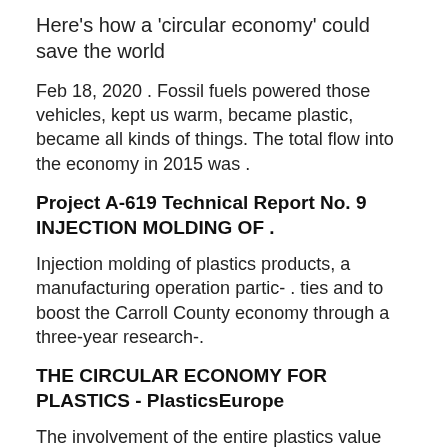Here's how a 'circular economy' could save the world
Feb 18, 2020 . Fossil fuels powered those vehicles, kept us warm, became plastic, became all kinds of things. The total flow into the economy in 2015 was .
Project A-619 Technical Report No. 9 INJECTION MOLDING OF .
Injection molding of plastics products, a manufacturing operation partic- . ties and to boost the Carroll County economy through a three-year research-.
THE CIRCULAR ECONOMY FOR PLASTICS - PlasticsEurope
The involvement of the entire plastics value chain from plastics producers and converters to brand owners, and consumers to waste management